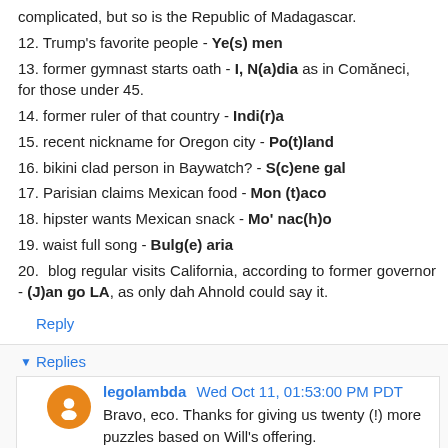complicated, but so is the Republic of Madagascar.
12. Trump's favorite people - Ye(s) men
13. former gymnast starts oath - I, N(a)dia as in Comăneci, for those under 45.
14. former ruler of that country - Indi(r)a
15. recent nickname for Oregon city - Po(t)land
16. bikini clad person in Baywatch? - S(c)ene gal
17. Parisian claims Mexican food - Mon (t)aco
18. hipster wants Mexican snack - Mo' nac(h)o
19. waist full song - Bulg(e) aria
20. blog regular visits California, according to former governor - (J)an go LA, as only dah Ahnold could say it.
Reply
Replies
legolambda Wed Oct 11, 01:53:00 PM PDT
Bravo, eco. Thanks for giving us twenty (!) more puzzles based on Will's offering.

LegoWhoBelievesecoIsAnArchitectOfMystification